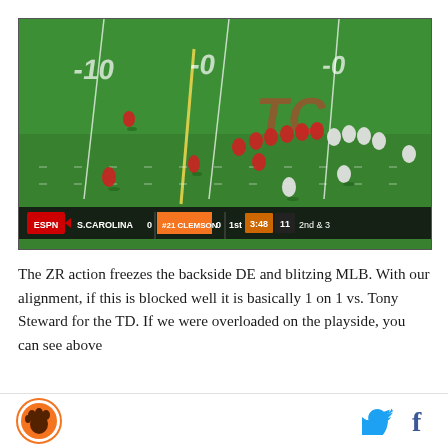[Figure (screenshot): ESPN broadcast screenshot of a football game between S.Carolina (0) and #21 Clemson (0). The scoreboard shows 1st quarter, 3:48, #11, 2nd & 3. The field shows players in red (Clemson) and white (S.Carolina) uniforms. A down-and-distance graphic reads '2ND & 3  11' overlaid on the field.]
The ZR action freezes the backside DE and blitzing MLB. With our alignment, if this is blocked well it is basically 1 on 1 vs. Tony Steward for the TD. If we were overloaded on the playside, you can see above
Clemson logo icon | Twitter bird icon | Facebook f icon